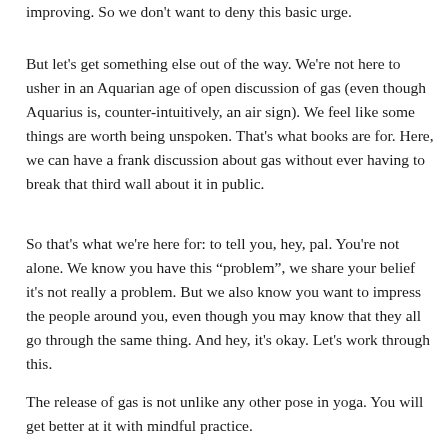improving.  So we don't want to deny this basic urge.
But let's get something else out of the way.  We're not here to usher in an Aquarian age of open discussion of gas (even though Aquarius is, counter-intuitively, an air sign).  We feel like some things are worth being unspoken.  That's what books are for.  Here, we can have a frank discussion about gas without ever having to break that third wall about it in public.
So that's what we're here for: to tell you, hey, pal.  You're not alone.  We know you have this “problem”, we share your belief it's not really a problem.  But we also know you want to impress the people around you, even though you may know that they all go through the same thing.  And hey, it's okay.  Let's work through this.
The release of gas is not unlike any other pose in yoga.  You will get better at it with mindful practice.